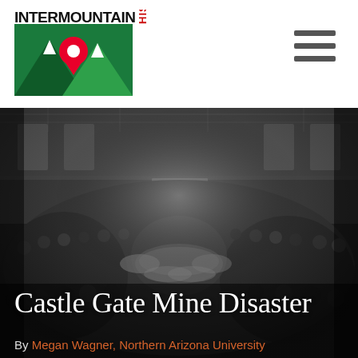[Figure (logo): Intermountain Histories logo: mountain peaks with location pin, text INTERMOUNTAIN in black bold and HISTORIES in red vertical text]
[Figure (photo): Black and white historical photograph showing a large crowd gathered indoors at what appears to be a funeral or memorial service, with caskets surrounded by flowers visible in the center of a large hall]
Castle Gate Mine Disaster
By Megan Wagner, Northern Arizona University